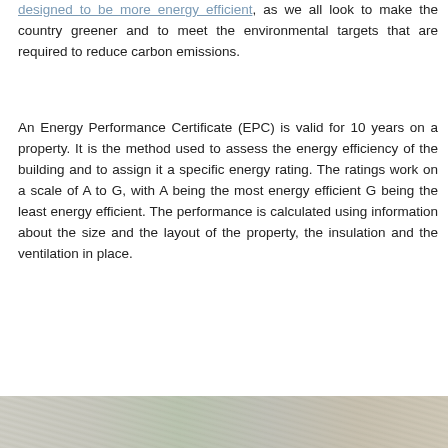designed to be more energy efficient, as we all look to make the country greener and to meet the environmental targets that are required to reduce carbon emissions.
An Energy Performance Certificate (EPC) is valid for 10 years on a property. It is the method used to assess the energy efficiency of the building and to assign it a specific energy rating. The ratings work on a scale of A to G, with A being the most energy efficient G being the least energy efficient. The performance is calculated using information about the size and the layout of the property, the insulation and the ventilation in place.
[Figure (photo): Partial image strip showing sketched or photographed documents/papers at the bottom of the page]